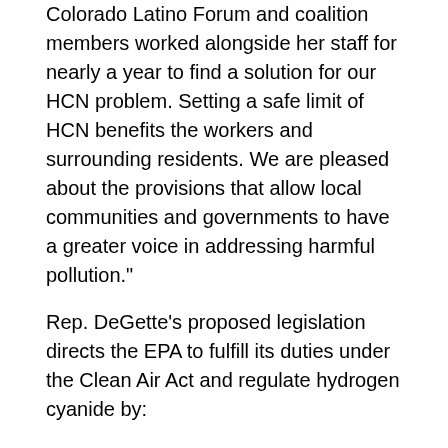Colorado Latino Forum and coalition members worked alongside her staff for nearly a year to find a solution for our HCN problem. Setting a safe limit of HCN benefits the workers and surrounding residents. We are pleased about the provisions that allow local communities and governments to have a greater voice in addressing harmful pollution."
Rep. DeGette's proposed legislation directs the EPA to fulfill its duties under the Clean Air Act and regulate hydrogen cyanide by:
setting a numeric limit that assures a margin of safety to protect children's health, vulnerable populations, and fetal health, considering cumulative exposure to multiple sources of pollution and the best available science;